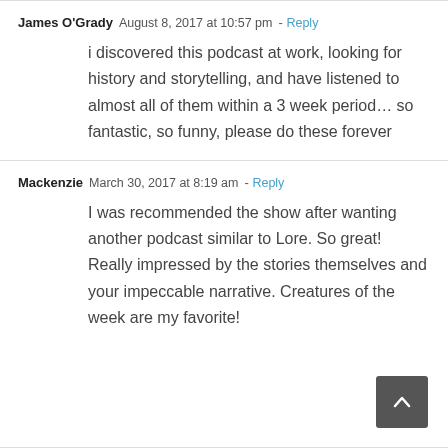James O'Grady  August 8, 2017 at 10:57 pm - Reply
i discovered this podcast at work, looking for history and storytelling, and have listened to almost all of them within a 3 week period… so fantastic, so funny, please do these forever
Mackenzie  March 30, 2017 at 8:19 am - Reply
I was recommended the show after wanting another podcast similar to Lore. So great! Really impressed by the stories themselves and your impeccable narrative. Creatures of the week are my favorite!